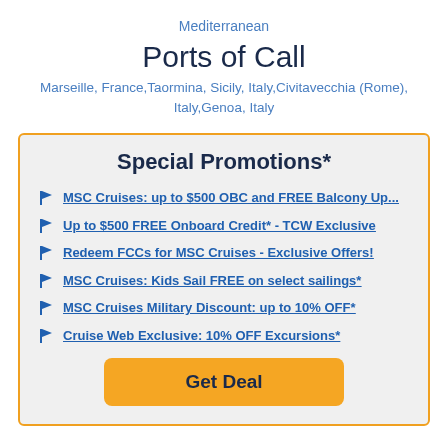Mediterranean
Ports of Call
Marseille, France,Taormina, Sicily, Italy,Civitavecchia (Rome), Italy,Genoa, Italy
Special Promotions*
MSC Cruises: up to $500 OBC and FREE Balcony Up...
Up to $500 FREE Onboard Credit* - TCW Exclusive
Redeem FCCs for MSC Cruises - Exclusive Offers!
MSC Cruises: Kids Sail FREE on select sailings*
MSC Cruises Military Discount: up to 10% OFF*
Cruise Web Exclusive: 10% OFF Excursions*
Get Deal